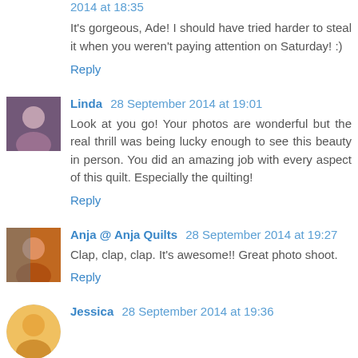2014 at 18:35
It's gorgeous, Ade! I should have tried harder to steal it when you weren't paying attention on Saturday! :)
Reply
Linda 28 September 2014 at 19:01
Look at you go! Your photos are wonderful but the real thrill was being lucky enough to see this beauty in person. You did an amazing job with every aspect of this quilt. Especially the quilting!
Reply
Anja @ Anja Quilts 28 September 2014 at 19:27
Clap, clap, clap. It's awesome!! Great photo shoot.
Reply
Jessica 28 September 2014 at 19:36